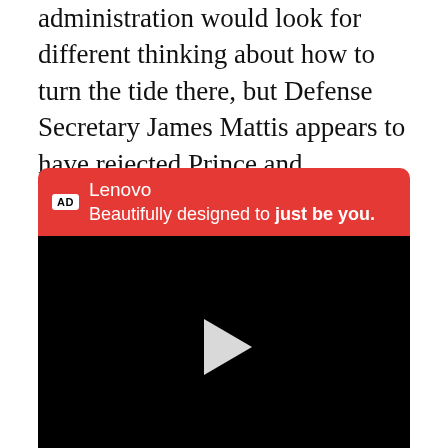administration would look for different thinking about how to turn the tide there, but Defense Secretary James Mattis appears to have rejected Prince and Feinberg's proposals.
[Figure (other): Lenovo advertisement with video player. Header reads 'Lenovo Beautifully designed to just be you.' on red background with AD badge. Video area is black with a play button. Controls bar at bottom shows play, volume, and CC buttons. Below is a pink/red strip with partial laptop image.]